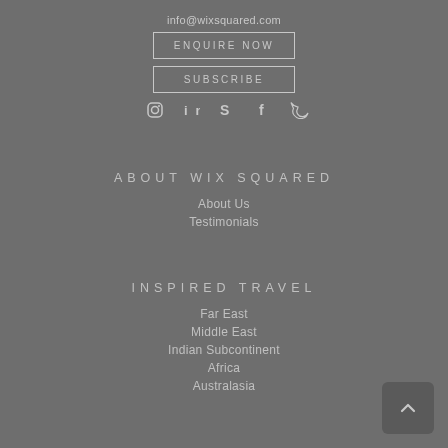info@wixsquared.com
ENQUIRE NOW
SUBSCRIBE
[Figure (illustration): Row of social media icons: Instagram, LinkedIn, Skype, Facebook, Twitter]
ABOUT WIX SQUARED
About Us
Testimonials
INSPIRED TRAVEL
Far East
Middle East
Indian Subcontinent
Africa
Australasia